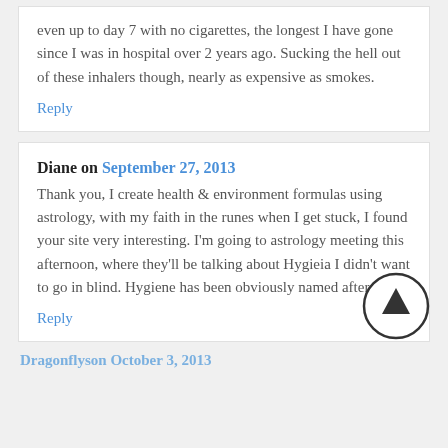even up to day 7 with no cigarettes, the longest I have gone since I was in hospital over 2 years ago. Sucking the hell out of these inhalers though, nearly as expensive as smokes.
Reply
Diane on September 27, 2013
Thank you, I create health & environment formulas using astrology, with my faith in the runes when I get stuck, I found your site very interesting. I'm going to astrology meeting this afternoon, where they'll be talking about Hygieia I didn't want to go in blind. Hygiene has been obviously named after it
Reply
Dragonflyson October 3, 2013